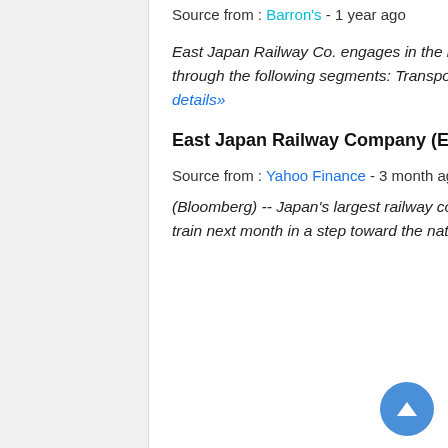Source from : Barron's - 1 year ago
East Japan Railway Co. engages in the business of railway transportation services. It operates through the following segments: Transportation, Retails and Services, Real Estate and Hotels ... See details»
East Japan Railway Company (EJPRY)
Source from : Yahoo Finance - 3 month ago
(Bloomberg) -- Japan's largest railway company will begin testing the country's first hydrogen-fueled train next month in a step toward the nation's goal of becoming carbon neutral by 2050. See details»